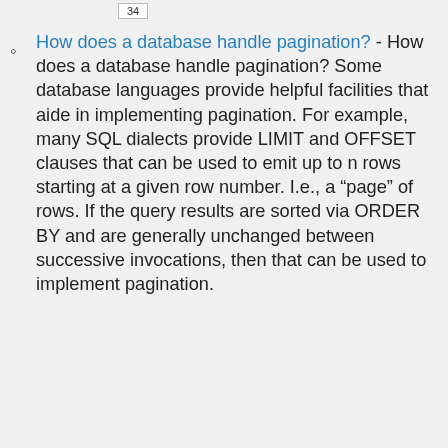34
How does a database handle pagination? - How does a database handle pagination? Some database languages provide helpful facilities that aide in implementing pagination. For example, many SQL dialects provide LIMIT and OFFSET clauses that can be used to emit up to n rows starting at a given row number. I.e., a “page” of rows. If the query results are sorted via ORDER BY and are generally unchanged between successive invocations, then that can be used to implement pagination.
2301230123
ld
  the
y